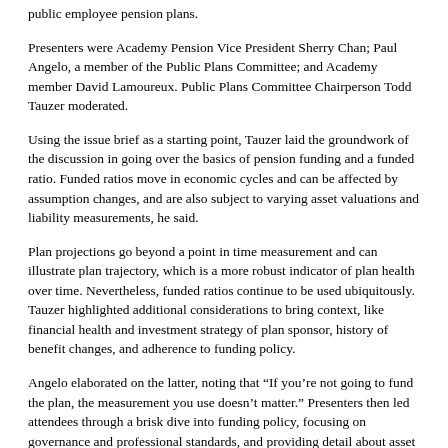public employee pension plans.
Presenters were Academy Pension Vice President Sherry Chan; Paul Angelo, a member of the Public Plans Committee; and Academy member David Lamoureux. Public Plans Committee Chairperson Todd Tauzer moderated.
Using the issue brief as a starting point, Tauzer laid the groundwork of the discussion in going over the basics of pension funding and a funded ratio. Funded ratios move in economic cycles and can be affected by assumption changes, and are also subject to varying asset valuations and liability measurements, he said.
Plan projections go beyond a point in time measurement and can illustrate plan trajectory, which is a more robust indicator of plan health over time. Nevertheless, funded ratios continue to be used ubiquitously. Tauzer highlighted additional considerations to bring context, like financial health and investment strategy of plan sponsor, history of benefit changes, and adherence to funding policy.
Angelo elaborated on the latter, noting that “If you’re not going to fund the plan, the measurement you use doesn’t matter.” Presenters then led attendees through a brisk dive into funding policy, focusing on governance and professional standards, and providing detail about asset smoothing and amortization methods.